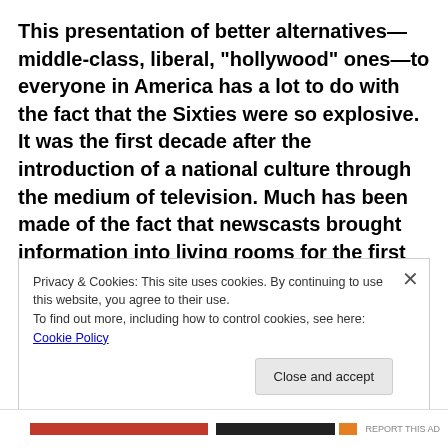This presentation of better alternatives—middle-class, liberal, “hollywood” ones—to everyone in America has a lot to do with the fact that the Sixties were so explosive. It was the first decade after the introduction of a national culture through the medium of television. Much has been made of the fact that newscasts brought information into living rooms for the first time in that era—which is the thing that intellectual elitists will focus on, blinded by their quaint beliefs that humans are rational actors. It takes an experiential psychologist and social scientist like myself to notice
Privacy & Cookies: This site uses cookies. By continuing to use this website, you agree to their use.
To find out more, including how to control cookies, see here: Cookie Policy
Close and accept